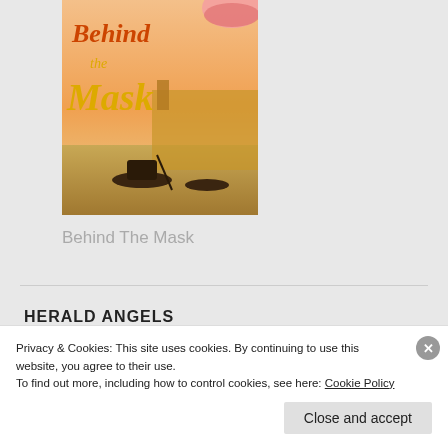[Figure (illustration): Book cover for 'Behind the Mask' showing text 'Behind the Mask' in stylized orange/gold lettering over a Venice canal scene with gondolas]
Behind The Mask
HERALD ANGELS
[Figure (illustration): Partial book cover showing 'RENEE CANTER' text in decorative white script on dark background]
Privacy & Cookies: This site uses cookies. By continuing to use this website, you agree to their use.
To find out more, including how to control cookies, see here: Cookie Policy
Close and accept